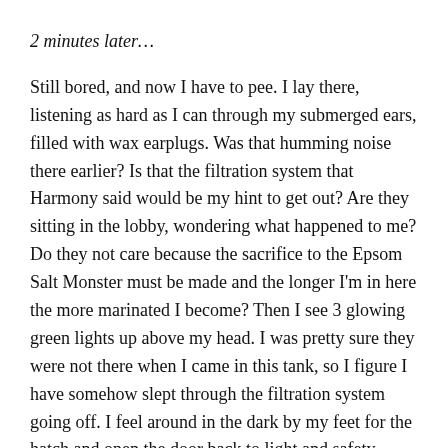2 minutes later…
Still bored, and now I have to pee.  I lay there, listening as hard as I can through my submerged ears, filled with wax earplugs.  Was that humming noise there earlier?  Is that the filtration system that Harmony said would be my hint to get out?  Are they sitting in the lobby, wondering what happened to me?  Do they not care because the sacrifice to the Epsom Salt Monster must be made and the longer I'm in here the more marinated I become?  Then I see 3 glowing green lights up above my head.  I was pretty sure they were not there when I came in this tank, so I figure I have somehow slept through the filtration system going off.  I feel around in the dark by my feet for the hatch and open the door back to light and safety.
I look at the timer perched by the open door.  Eleven